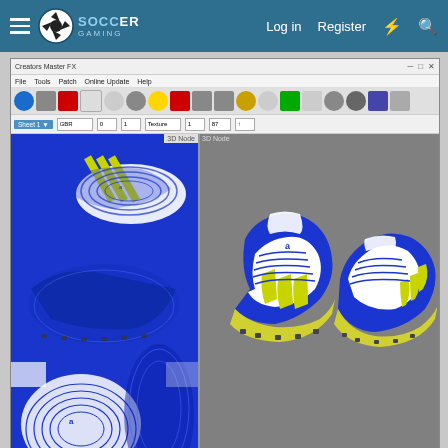Soccer Gaming — Log in | Register
[Figure (screenshot): Screenshot of Creators Master FX application showing a 3D soccer boot (blue/white/yellow Adidas-style) texture map on the left panel and 3D rendered view of two boots on the right panel. Windows taskbar visible at bottom.]
PortalDark, iwanamzan, Petardas and 7 others
mikka_s27
[Figure (illustration): BitLife advertisement banner with cartoon emoji characters and text 'BitLife REAL CHOICES']